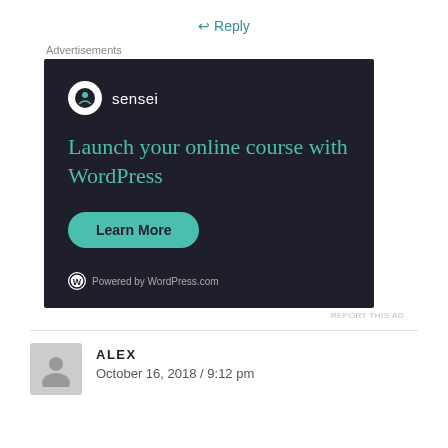↩ Reply
Advertisements
[Figure (screenshot): Sensei advertisement: dark background with Sensei logo, headline 'Launch your online course with WordPress', a teal 'Learn More' button, and 'Powered by WordPress.com' footer.]
REPORT THIS AD
ALEX
October 16, 2018 / 9:12 pm